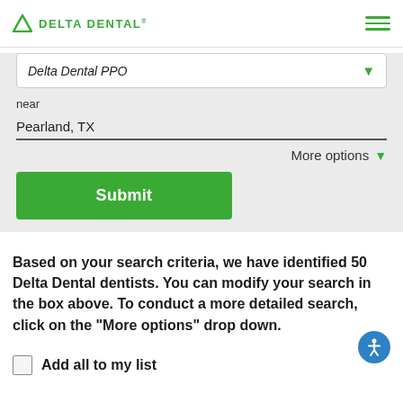DELTA DENTAL
Delta Dental PPO
near
Pearland, TX
More options
Submit
Based on your search criteria, we have identified 50 Delta Dental dentists. You can modify your search in the box above. To conduct a more detailed search, click on the "More options" drop down.
Add all to my list